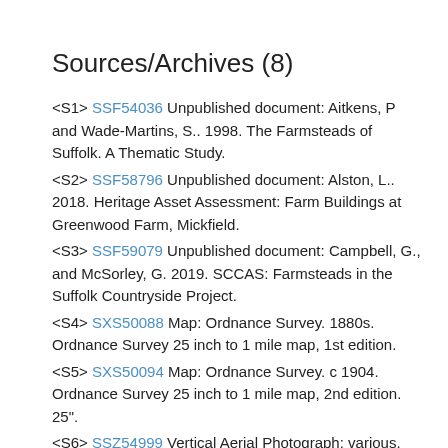Sources/Archives (8)
<S1> SSF54036 Unpublished document: Aitkens, P and Wade-Martins, S.. 1998. The Farmsteads of Suffolk. A Thematic Study.
<S2> SSF58796 Unpublished document: Alston, L.. 2018. Heritage Asset Assessment: Farm Buildings at Greenwood Farm, Mickfield.
<S3> SSF59079 Unpublished document: Campbell, G., and McSorley, G. 2019. SCCAS: Farmsteads in the Suffolk Countryside Project.
<S4> SXS50088 Map: Ordnance Survey. 1880s. Ordnance Survey 25 inch to 1 mile map, 1st edition.
<S5> SXS50094 Map: Ordnance Survey. c 1904. Ordnance Survey 25 inch to 1 mile map, 2nd edition. 25".
<S6> SSZ54999 Vertical Aerial Photograph: various. Google Earth